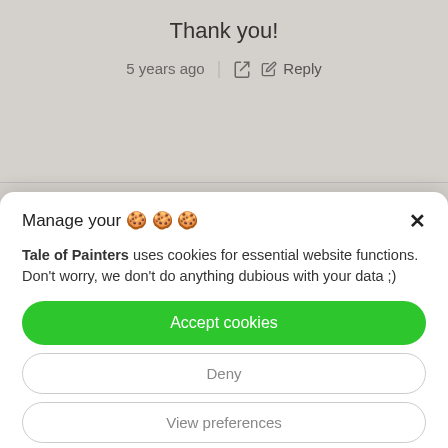Thank you!
5 years ago  |  Reply
Manage your 🍪🍪🍪
Tale of Painters uses cookies for essential website functions. Don't worry, we don't do anything dubious with your data ;)
Accept cookies
Deny
View preferences